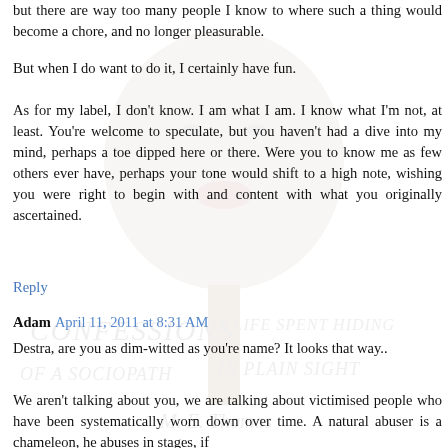but there are way too many people I know to where such a thing would become a chore, and no longer pleasurable.
But when I do want to do it, I certainly have fun.
As for my label, I don't know. I am what I am. I know what I'm not, at least. You're welcome to speculate, but you haven't had a dive into my mind, perhaps a toe dipped here or there. Were you to know me as few others ever have, perhaps your tone would shift to a high note, wishing you were right to begin with and content with what you originally ascertained.
Reply
Adam  April 11, 2011 at 8:31 AM
Destra, are you as dim-witted as you're name? It looks that way..
We aren't talking about you, we are talking about victimised people who have been systematically worn down over time. A natural abuser is a chameleon, he abuses in stages, if